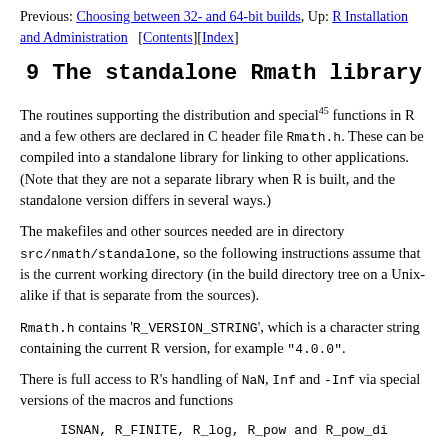Previous: Choosing between 32- and 64-bit builds, Up: R Installation and Administration [Contents][Index]
9 The standalone Rmath library
The routines supporting the distribution and special[45] functions in R and a few others are declared in C header file Rmath.h. These can be compiled into a standalone library for linking to other applications. (Note that they are not a separate library when R is built, and the standalone version differs in several ways.)
The makefiles and other sources needed are in directory src/nmath/standalone, so the following instructions assume that is the current working directory (in the build directory tree on a Unix-alike if that is separate from the sources).
Rmath.h contains 'R_VERSION_STRING', which is a character string containing the current R version, for example "4.0.0".
There is full access to R's handling of NaN, Inf and -Inf via special versions of the macros and functions
ISNAN, R_FINITE, R_log, R_pow and R_pow_di
and (extern) constants R_PosInf, R_NegInf and NA_REAL.
There is a...